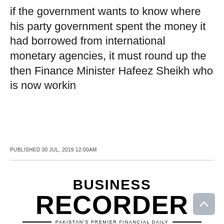if the government wants to know where his party government spent the money it had borrowed from international monetary agencies, it must round up the then Finance Minister Hafeez Sheikh who is now workin
PUBLISHED 30 JUL, 2019 12:00AM
[Figure (logo): Business Recorder logo — Pakistan's Premier Financial Daily]